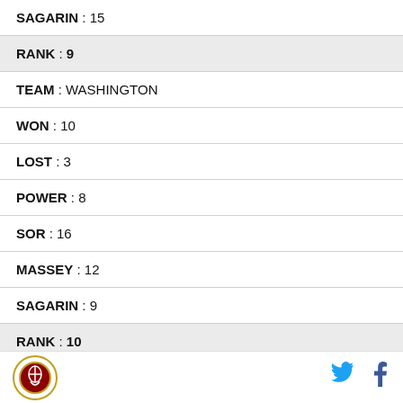| SAGARIN : 15 |
| RANK : 9 |
| TEAM : WASHINGTON |
| WON : 10 |
| LOST : 3 |
| POWER : 8 |
| SOR : 16 |
| MASSEY : 12 |
| SAGARIN : 9 |
| RANK : 10 |
| TEAM : CENTRAL FLORIDA |
Logo | Twitter | Facebook